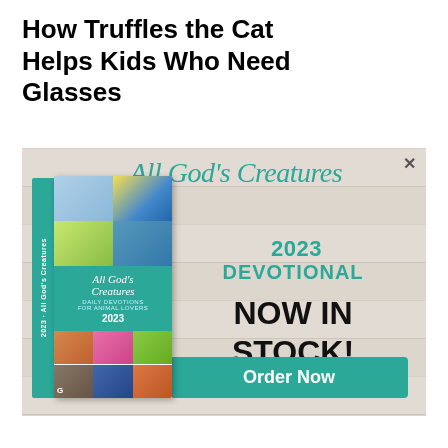How Truffles the Cat Helps Kids Who Need Glasses
[Figure (illustration): Advertisement for 'All God's Creatures 2023 Devotional' book. Shows the book cover on the left with animal photos. Right side has teal script title 'All God's Creatures', then '2023 DEVOTIONAL' in teal bold text, 'NOW IN STOCK!' in large black bold text, and a teal 'Order Now' button. Background is a wood-plank texture. An X close button is in the top right corner.]